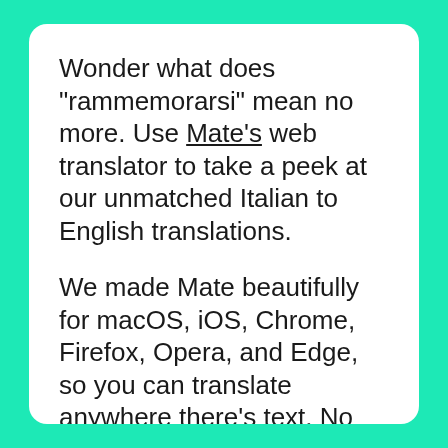Wonder what does "rammemorarsi" mean no more. Use Mate's web translator to take a peek at our unmatched Italian to English translations.
We made Mate beautifully for macOS, iOS, Chrome, Firefox, Opera, and Edge, so you can translate anywhere there's text. No more app, browser tab switching, or copy-pasting.
The most advanced machine translation power right where you need it. Effortlessly translate